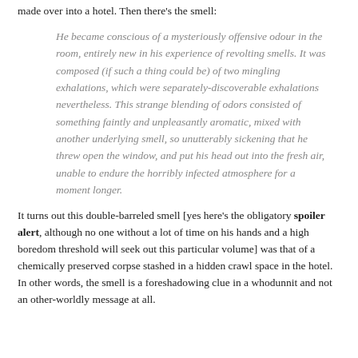made over into a hotel. Then there's the smell:
He became conscious of a mysteriously offensive odour in the room, entirely new in his experience of revolting smells. It was composed (if such a thing could be) of two mingling exhalations, which were separately-discoverable exhalations nevertheless. This strange blending of odors consisted of something faintly and unpleasantly aromatic, mixed with another underlying smell, so unutterably sickening that he threw open the window, and put his head out into the fresh air, unable to endure the horribly infected atmosphere for a moment longer.
It turns out this double-barreled smell [yes here's the obligatory spoiler alert, although no one without a lot of time on his hands and a high boredom threshold will seek out this particular volume] was that of a chemically preserved corpse stashed in a hidden crawl space in the hotel. In other words, the smell is a foreshadowing clue in a whodunnit and not an other-worldly message at all.